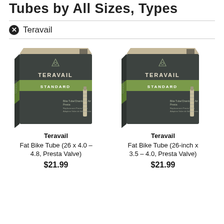Tubes by All Sizes, Types
Teravail
[Figure (photo): Teravail Standard Fat Bike Tube box (dark gray and green, Presta valve) - left product]
Teravail Fat Bike Tube (26 x 4.0 – 4.8, Presta Valve) $21.99
[Figure (photo): Teravail Standard Fat Bike Tube box (dark gray and green, Presta valve) - right product]
Teravail Fat Bike Tube (26-inch x 3.5 – 4.0, Presta Valve) $21.99